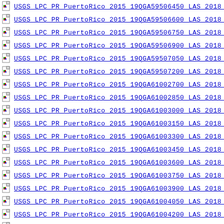USGS LPC PR PuertoRico 2015 19QGA59506450 LAS 2018 th
USGS LPC PR PuertoRico 2015 19QGA59506600 LAS 2018 th
USGS LPC PR PuertoRico 2015 19QGA59506750 LAS 2018 th
USGS LPC PR PuertoRico 2015 19QGA59506900 LAS 2018 th
USGS LPC PR PuertoRico 2015 19QGA59507050 LAS 2018 th
USGS LPC PR PuertoRico 2015 19QGA59507200 LAS 2018 th
USGS LPC PR PuertoRico 2015 19QGA61002700 LAS 2018 th
USGS LPC PR PuertoRico 2015 19QGA61002850 LAS 2018 th
USGS LPC PR PuertoRico 2015 19QGA61003000 LAS 2018 th
USGS LPC PR PuertoRico 2015 19QGA61003150 LAS 2018 th
USGS LPC PR PuertoRico 2015 19QGA61003300 LAS 2018 th
USGS LPC PR PuertoRico 2015 19QGA61003450 LAS 2018 th
USGS LPC PR PuertoRico 2015 19QGA61003600 LAS 2018 th
USGS LPC PR PuertoRico 2015 19QGA61003750 LAS 2018 th
USGS LPC PR PuertoRico 2015 19QGA61003900 LAS 2018 th
USGS LPC PR PuertoRico 2015 19QGA61004050 LAS 2018 th
USGS LPC PR PuertoRico 2015 19QGA61004200 LAS 2018 th
USGS LPC PR PuertoRico 2015 19QGA61004350 LAS 2018 th